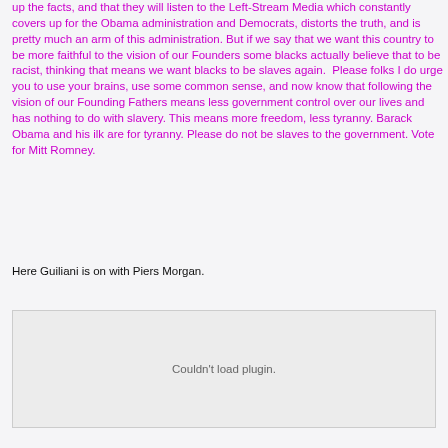up the facts, and that they will listen to the Left-Stream Media which constantly covers up for the Obama administration and Democrats, distorts the truth, and is pretty much an arm of this administration. But if we say that we want this country to be more faithful to the vision of our Founders some blacks actually believe that to be racist, thinking that means we want blacks to be slaves again. Please folks I do urge you to use your brains, use some common sense, and now know that following the vision of our Founding Fathers means less government control over our lives and has nothing to do with slavery. This means more freedom, less tyranny. Barack Obama and his ilk are for tyranny. Please do not be slaves to the government. Vote for Mitt Romney.
Here Guiliani is on with Piers Morgan.
[Figure (other): Embedded media plugin area showing 'Couldn't load plugin.' error message]